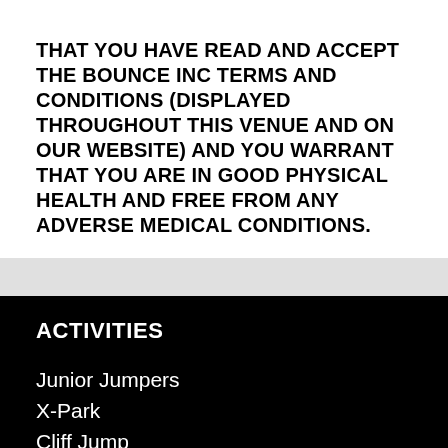THAT YOU HAVE READ AND ACCEPT THE BOUNCE INC TERMS AND CONDITIONS (DISPLAYED THROUGHOUT THIS VENUE AND ON OUR WEBSITE) AND YOU WARRANT THAT YOU ARE IN GOOD PHYSICAL HEALTH AND FREE FROM ANY ADVERSE MEDICAL CONDITIONS.
ACTIVITIES
Junior Jumpers
X-Park
Cliff Jump
Free Jump Arena
High Performance
Big Bag
Dodgeball
Slam Dunk